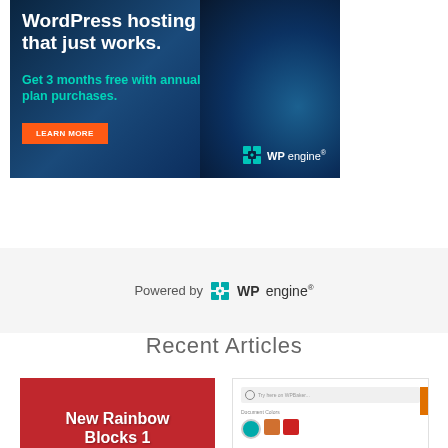[Figure (infographic): WP Engine advertisement banner with dark blue background, water splash imagery. Text: 'WordPress hosting that just works.' in white bold, 'Get 3 months free with annual plan purchases.' in teal/cyan, orange 'LEARN MORE' button, and WP Engine logo bottom right.]
Powered by WP engine®
Recent Articles
[Figure (photo): Article thumbnail with red background showing 'New Rainbow Blocks 1' in white bold text, with rainbow colored strip at bottom.]
[Figure (screenshot): Article thumbnail showing a UI screenshot with search bar, document color swatches (teal circle, orange square, red square), and an orange gradient bar at bottom.]